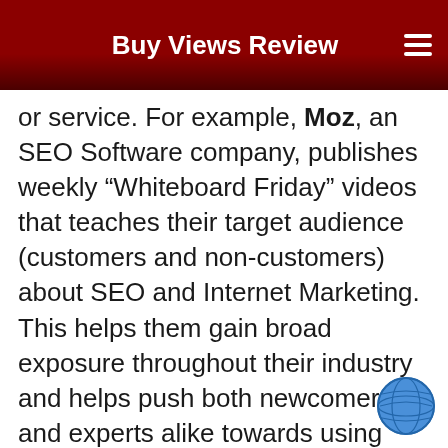Buy Views Review
or service. For example, Moz, an SEO Software company, publishes weekly “Whiteboard Friday” videos that teaches their target audience (customers and non-customers) about SEO and Internet Marketing. This helps them gain broad exposure throughout their industry and helps push both newcomers and experts alike towards using their services / apps. [/vc_column_text][/vc_column] [vc_column width=“1/2”][vc_video link=“https://www.youtube.com/watch?v=Rr10dA3aJIU”][/vc_column][/vc_row]